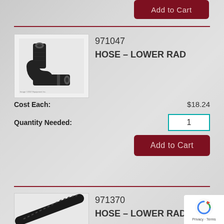Add to Cart
[Figure (photo): Black rubber elbow hose fitting with curved bend (lower radiator hose), part 971047]
971047
HOSE – LOWER RAD
Cost Each: $18.24
Quantity Needed: 1
Add to Cart
[Figure (photo): Black flexible corrugated radiator hose, straight style (lower radiator hose), part 971370]
971370
HOSE – LOWER RAD